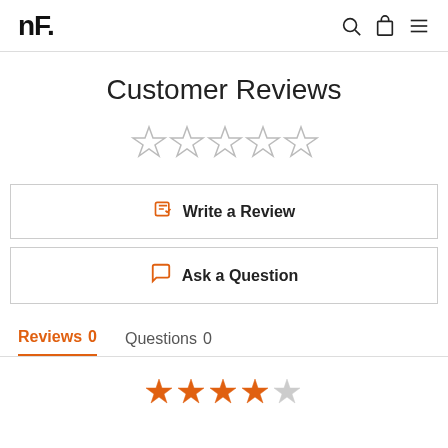NF.
Customer Reviews
[Figure (other): Five empty star rating icons in a row]
Write a Review
Ask a Question
Reviews 0   Questions 0
[Figure (other): Partial row of star rating icons at bottom, some filled orange]